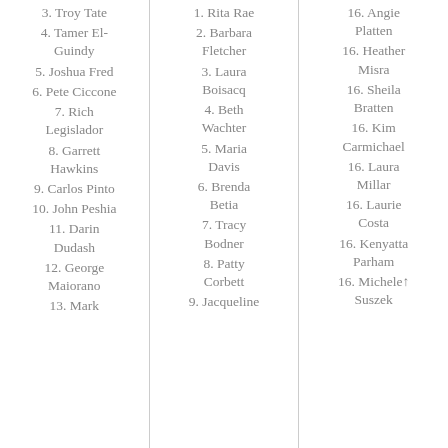3. Troy Tate
4. Tamer El-Guindy
5. Joshua Fred
6. Pete Ciccone
7. Rich Legislador
8. Garrett Hawkins
9. Carlos Pinto
10. John Peshia
11. Darin Dudash
12. George Maiorano
13. Mark
1. Rita Rae
2. Barbara Fletcher
3. Laura Boisacq
4. Beth Wachter
5. Maria Davis
6. Brenda Betia
7. Tracy Bodner
8. Patty Corbett
9. Jacqueline
16. Angie Platten
16. Heather Misra
16. Sheila Bratten
16. Kim Carmichael
16. Laura Millar
16. Laurie Costa
16. Kenyatta Parham
16. Michele Suszek